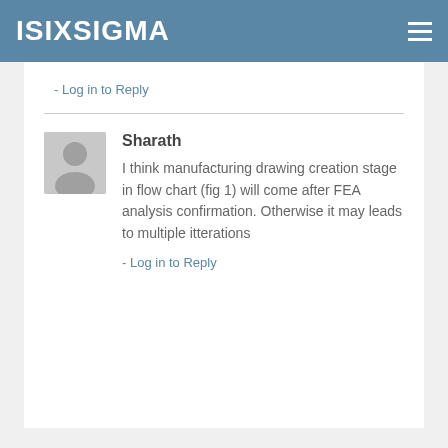ISIXSIGMA
- Log in to Reply
Sharath
I think manufacturing drawing creation stage in flow chart (fig 1) will come after FEA analysis confirmation. Otherwise it may leads to multiple itterations
- Log in to Reply